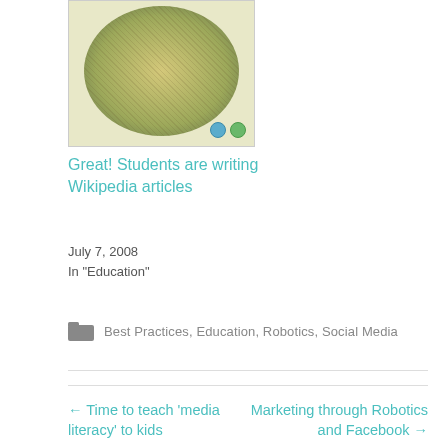[Figure (illustration): Circular Wikipedia article map visualization thumbnail with small blue and green navigation dots]
Great! Students are writing Wikipedia articles
July 7, 2008
In "Education"
Best Practices, Education, Robotics, Social Media
← Time to teach 'media literacy' to kids
Marketing through Robotics and Facebook →